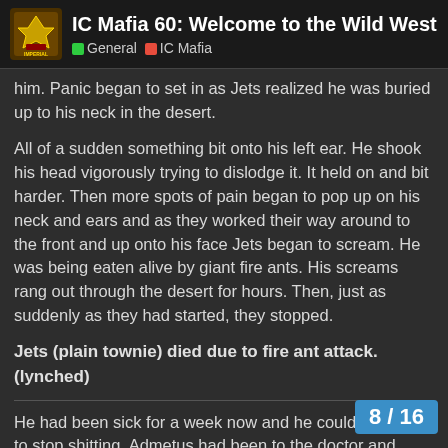IC Mafia 60: Welcome to the Wild West | General | IC Mafia
him. Panic began to set in as Jets realized he was buried up to his neck in the desert.
All of a sudden something bit onto his left ear. He shook his head vigorously trying to dislodge it. It held on and bit harder. Then more spots of pain began to pop up on his neck and ears and as they worked their way around to the front and up onto his face Jets began to scream. He was being eaten alive by giant fire ants. His screams rang out through the desert for hours. Then, just as suddenly as they had started, they stopped.
Jets (plain townie) died due to fire ant attack. (lynched)
He had been sick for a week now and he could not seem to stop shitting. Admetus had been to the doctor and gotten medicine, but it was not helping. Now, here he was on the shitter again and crying as his body removed itself of refuse for the eighth time today. He wiped himself off and stood all over the tissue he had used.